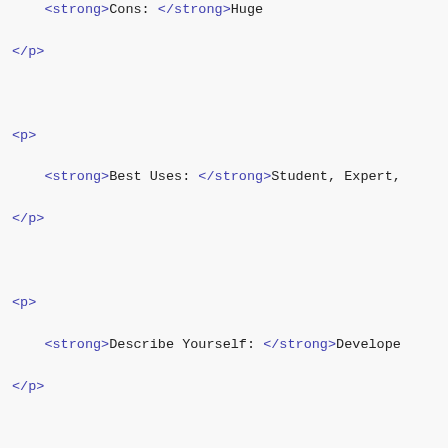<strong>Cons: </strong>Huge
</p>
<p>
<strong>Best Uses: </strong>Student, Expert,
</p>
<p>
<strong>Describe Yourself: </strong>Develope
</p>
<p style="margin-top:1em" class="description">
This is an unbelievably thorough JavaScript
</p>
<p>
I especially appreciate the structure and th
</p>
<p>